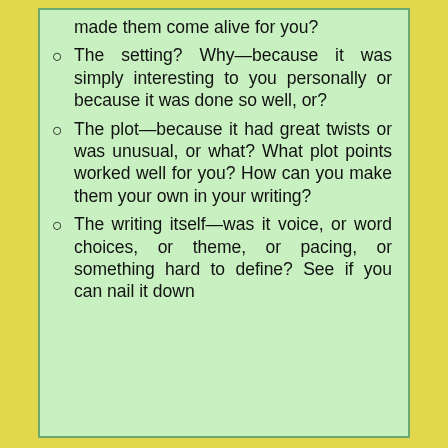made them come alive for you?
The setting? Why—because it was simply interesting to you personally or because it was done so well, or?
The plot—because it had great twists or was unusual, or what? What plot points worked well for you? How can you make them your own in your writing?
The writing itself—was it voice, or word choices, or theme, or pacing, or something hard to define? See if you can nail it down